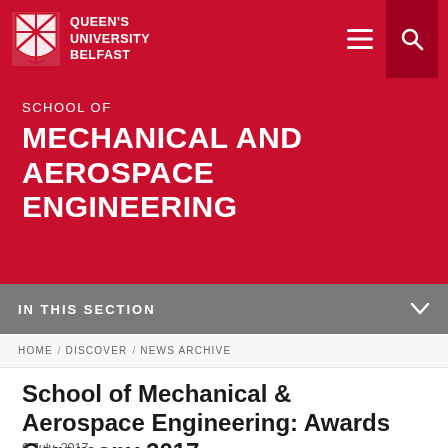[Figure (logo): Queen's University Belfast shield logo and navigation bar with hamburger menu and search icons on red background]
SCHOOL OF
MECHANICAL AND AEROSPACE ENGINEERING
IN THIS SECTION
HOME / DISCOVER / NEWS ARCHIVE
School of Mechanical & Aerospace Engineering: Awards Ceremony 2017
6 July, 2017